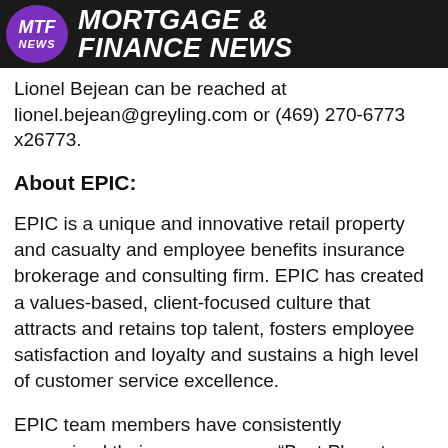MTF NEWS MORTGAGE & FINANCE NEWS
Lionel Bejean can be reached at lionel.bejean@greyling.com or (469) 270-6773 x26773.
About EPIC:
EPIC is a unique and innovative retail property and casualty and employee benefits insurance brokerage and consulting firm. EPIC has created a values-based, client-focused culture that attracts and retains top talent, fosters employee satisfaction and loyalty and sustains a high level of customer service excellence.
EPIC team members have consistently recognized their company as a “Best Place to